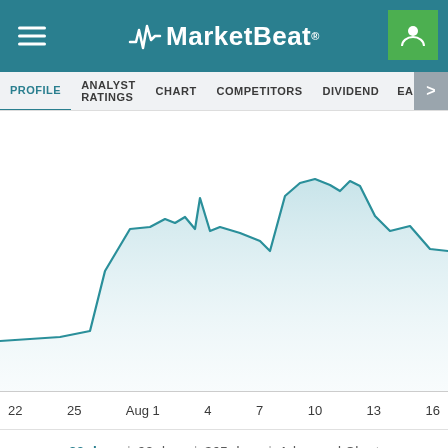MarketBeat
[Figure (continuous-plot): Stock price area/line chart showing price movement from July 22 to August 16. Price starts low around July 22-25, rises sharply around Aug 1, has a spike around Aug 4, plateaus, then surges to peak around Aug 13-16, before declining at the right edge.]
22  25  Aug 1  4  7  10  13  16
30 days | 90 days | 365 days | Advanced Chart